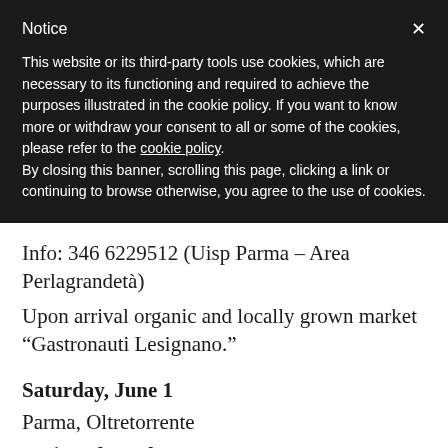Notice
This website or its third-party tools use cookies, which are necessary to its functioning and required to achieve the purposes illustrated in the cookie policy. If you want to know more or withdraw your consent to all or some of the cookies, please refer to the cookie policy.
By closing this banner, scrolling this page, clicking a link or continuing to browse otherwise, you agree to the use of cookies.
Info: 346 6229512 (Uisp Parma – Area Perlagrandetà)
Upon arrival organic and locally grown market “Gastronauti Lesignano.”
Saturday, June 1
Parma, Oltretorrente
Artisan for a day. Travel in the workshops and